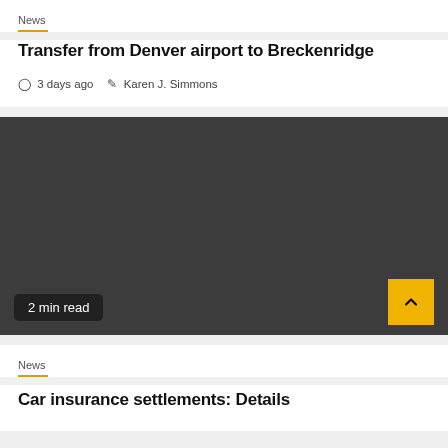News
Transfer from Denver airport to Breckenridge
3 days ago   Karen J. Simmons
[Figure (photo): Dark gray image block with '2 min read' badge overlay and yellow scroll-to-top button]
News
Car insurance settlements: Details